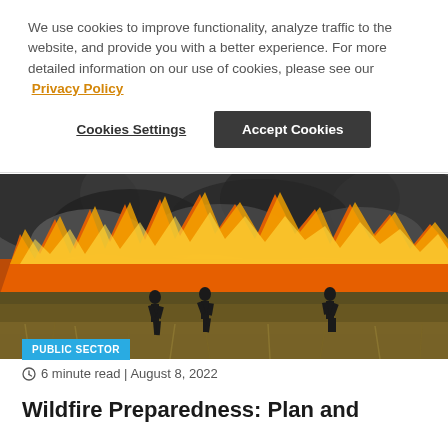We use cookies to improve functionality, analyze traffic to the website, and provide you with a better experience. For more detailed information on our use of cookies, please see our Privacy Policy
Cookies Settings | Accept Cookies
[Figure (photo): Firefighters in silhouette walking through a large wildfire with tall flames and heavy smoke in a dry field]
PUBLIC SECTOR
6 minute read | August 8, 2022
Wildfire Preparedness: Plan and